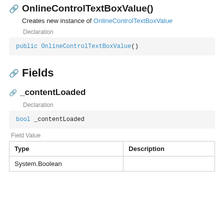OnlineControlTextBoxValue()
Creates new instance of OnlineControlTextBoxValue
Declaration
public OnlineControlTextBoxValue()
Fields
_contentLoaded
Declaration
bool _contentLoaded
Field Value
| Type | Description |
| --- | --- |
| System.Boolean |  |